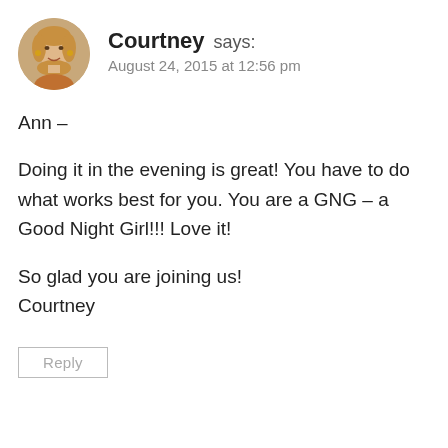[Figure (photo): Circular avatar photo of a woman with blonde hair]
Courtney says:
August 24, 2015 at 12:56 pm
Ann –
Doing it in the evening is great! You have to do what works best for you. You are a GNG – a Good Night Girl!!! Love it!
So glad you are joining us!
Courtney
Reply